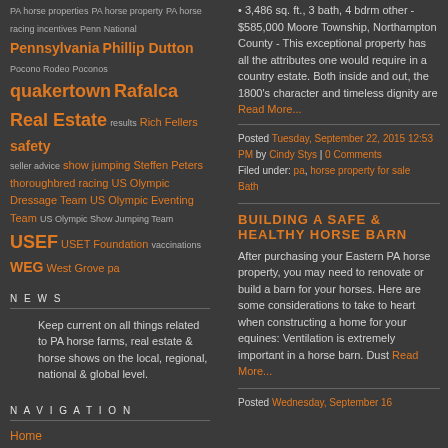PA horse properties PA horse property PA horse racing incentives Penn National Pennsylvania Phillip Dutton Pocono Rodeo Poconos quakertown Rafalca Real Estate results Rich Fellers safety seller advice show jumping Steffen Peters thoroughbred racing US Olympic Dressage Team US Olympic Eventing Team US Olympic Show Jumping Team USEF USET Foundation vaccinations WEG West Grove pa
NEWS
Keep current on all things related to PA horse farms, real estate & horse shows on the local, regional, national & global level.
NAVIGATION
Home
Blogs
Photos
ARCHIVES
• 3,486 sq. ft., 3 bath, 4 bdrm other - $585,000 Moore Township, Northampton County - This exceptional property has all the attributes one would require in a country estate. Both inside and out, the 1800's character and timeless dignity are Read More...
Posted Tuesday, September 22, 2015 12:53 PM by Cindy Stys | 0 Comments Filed under: pa, horse property for sale Bath
BUILDING A SAFE & HEALTHY HORSE BARN
After purchasing your Eastern PA horse property, you may need to renovate or build a barn for your horses. Here are some considerations to take to heart when constructing a home for your equines: Ventilation is extremely important in a horse barn. Dust Read More...
Posted Wednesday, September 16